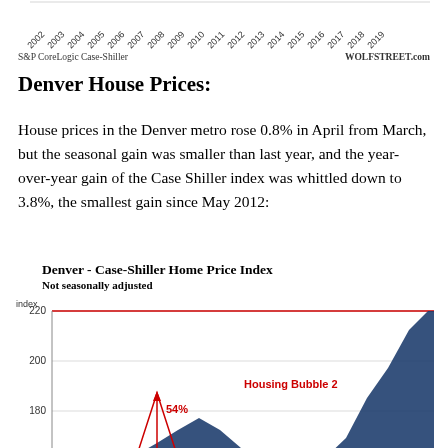[Figure (continuous-plot): Top portion of Case-Shiller home price index chart showing x-axis years from 2002 to 2019]
S&P CoreLogic Case-Shiller    WOLFSTREET.com
Denver House Prices:
House prices in the Denver metro rose 0.8% in April from March, but the seasonal gain was smaller than last year, and the year-over-year gain of the Case Shiller index was whittled down to 3.8%, the smallest gain since May 2012:
[Figure (area-chart): Area chart showing Denver Case-Shiller Home Price Index, not seasonally adjusted. Red horizontal line at 220. Blue filled area rising from left, with red outlined spike annotated 54% around 2006-2008, then a trough, then rising steeply to near 220 labeled Housing Bubble 2. Y-axis shows 180, 200, 220.]